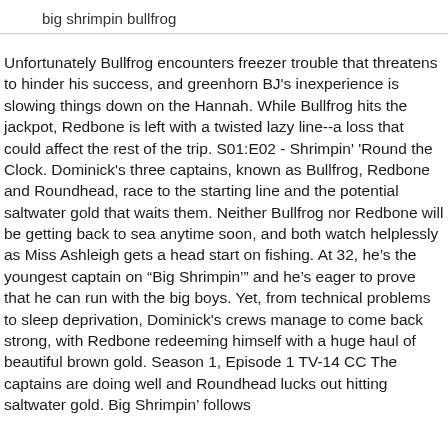big shrimpin bullfrog
Unfortunately Bullfrog encounters freezer trouble that threatens to hinder his success, and greenhorn BJ's inexperience is slowing things down on the Hannah. While Bullfrog hits the jackpot, Redbone is left with a twisted lazy line--a loss that could affect the rest of the trip. S01:E02 - Shrimpin' 'Round the Clock. Dominick's three captains, known as Bullfrog, Redbone and Roundhead, race to the starting line and the potential saltwater gold that waits them. Neither Bullfrog nor Redbone will be getting back to sea anytime soon, and both watch helplessly as Miss Ashleigh gets a head start on fishing. At 32, he’s the youngest captain on “Big Shrimpin’” and he’s eager to prove that he can run with the big boys. Yet, from technical problems to sleep deprivation, Dominick's crews manage to come back strong, with Redbone redeeming himself with a huge haul of beautiful brown gold. Season 1, Episode 1 TV-14 CC The captains are doing well and Roundhead lucks out hitting saltwater gold. Big Shrimpin’ follows